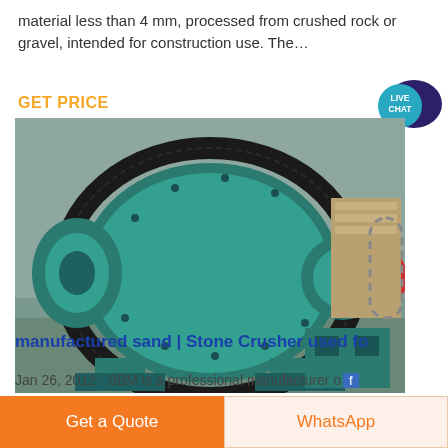material less than 4 mm, processed from crushed rock or gravel, intended for construction use. The…
GET PRICE
[Figure (photo): Industrial ball mill machine painted in teal/green color, showing large gear ring, cylindrical drum with bolted flanges, and red intake funnel, displayed in a factory setting]
manufactured sand | Stone Crusher used fo
Jan 26, 2012 · SBM is a professional manufacturer of
Get a Quote
WhatsApp